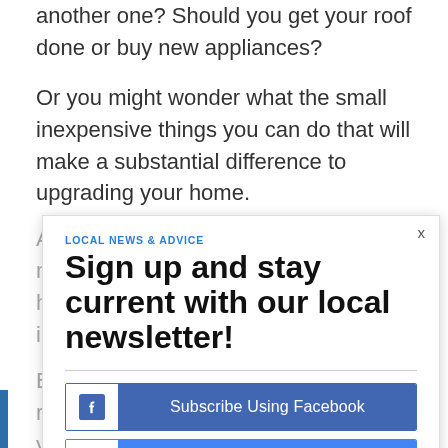another one? Should you get your roof done or buy new appliances?
Or you might wonder what the small inexpensive things you can do that will make a substantial difference to upgrading your home.
And most importantly, how much money are you going to spend, and how do you know if you do make the investment?
Below is a list of your most worthwhile renovations when it comes to getting your home ready for the market.
[Figure (screenshot): Newsletter signup modal overlay with LOCAL NEWS & ADVICE tag, headline 'Sign up and stay current with our local newsletter!', Facebook and Google subscribe buttons, and a close X button.]